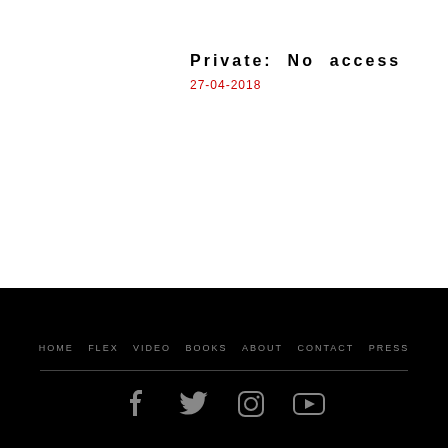Private: No access
27-04-2018
HOME  FLEX  VIDEO  BOOKS  ABOUT  CONTACT  PRESS